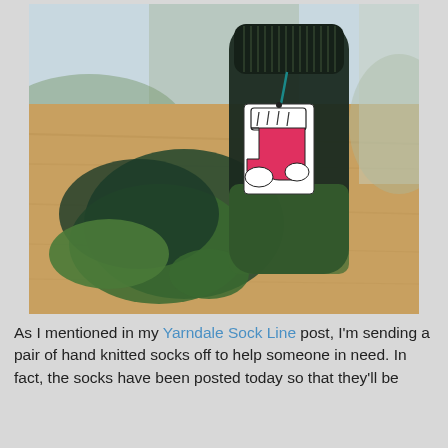[Figure (photo): A pair of hand-knitted socks in dark teal/green variegated yarn, folded and laid on a wooden surface. A decorative Christmas stocking gift tag (white and red, illustrated) hangs from a teal yarn loop attached to the socks.]
As I mentioned in my Yarndale Sock Line post, I'm sending a pair of hand knitted socks off to help someone in need. In fact, the socks have been posted today so that they'll be